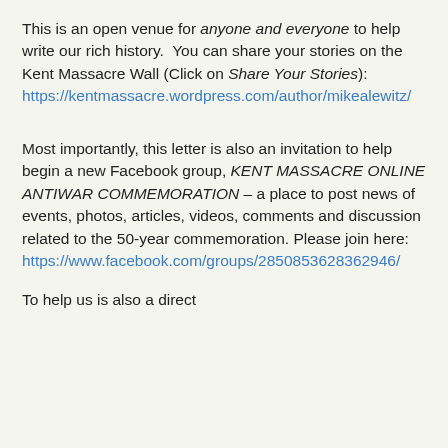This is an open venue for anyone and everyone to help write our rich history.  You can share your stories on the Kent Massacre Wall (Click on Share Your Stories): https://kentmassacre.wordpress.com/author/mikealewitz/
Most importantly, this letter is also an invitation to help begin a new Facebook group, KENT MASSACRE ONLINE ANTIWAR COMMEMORATION – a place to post news of events, photos, articles, videos, comments and discussion related to the 50-year commemoration. Please join here: https://www.facebook.com/groups/2850853628362946/
To help us is also a direct...